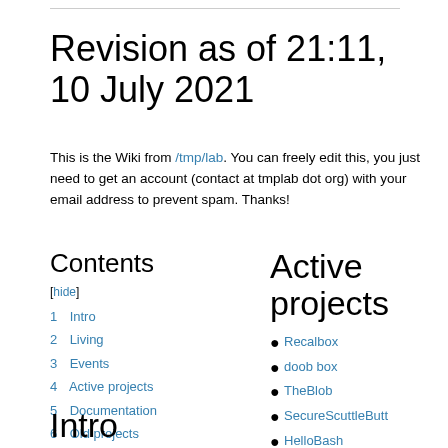Revision as of 21:11, 10 July 2021
This is the Wiki from /tmp/lab. You can freely edit this, you just need to get an account (contact at tmplab dot org) with your email address to prevent spam. Thanks!
Contents
[hide]
1  Intro
2  Living
3  Events
4  Active projects
5  Documentation
6  Old projects
Active projects
Recalbox
doob box
TheBlob
SecureScuttleButt
HelloBash
3D Printing deploy script
THSF 2019
Intro